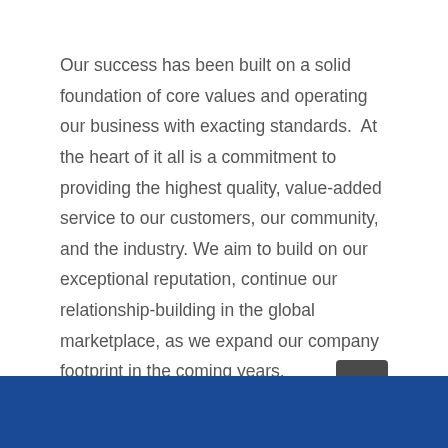Our success has been built on a solid foundation of core values and operating our business with exacting standards.  At the heart of it all is a commitment to providing the highest quality, value-added service to our customers, our community, and the industry. We aim to build on our exceptional reputation, continue our relationship-building in the global marketplace, as we expand our company footprint in the coming years.
[Figure (other): Dark grey rounded square button with a white upward-pointing chevron arrow, positioned above the blue footer bar.]